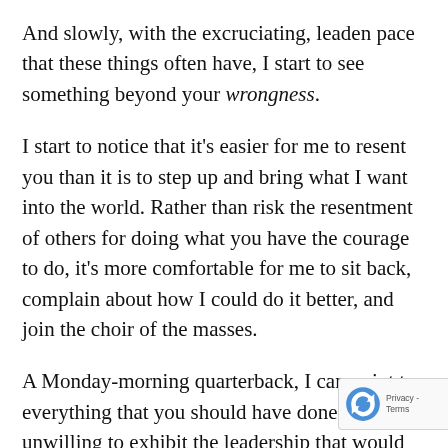And slowly, with the excruciating, leaden pace that these things often have, I start to see something beyond your wrongness.
I start to notice that it's easier for me to resent you than it is to step up and bring what I want into the world. Rather than risk the resentment of others for doing what you have the courage to do, it's more comfortable for me to sit back, complain about how I could do it better, and join the choir of the masses.
A Monday-morning quarterback, I can point to everything that you should have done, but am unwilling to exhibit the leadership that would have me step up to the plate and fac